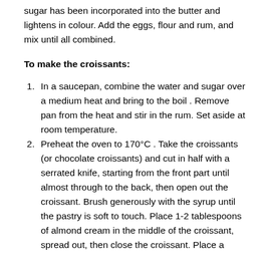sugar has been incorporated into the butter and lightens in colour. Add the eggs, flour and rum, and mix until all combined.
To make the croissants:
In a saucepan, combine the water and sugar over a medium heat and bring to the boil . Remove pan from the heat and stir in the rum. Set aside at room temperature.
Preheat the oven to 170°C . Take the croissants (or chocolate croissants) and cut in half with a serrated knife, starting from the front part until almost through to the back, then open out the croissant. Brush generously with the syrup until the pastry is soft to touch. Place 1-2 tablespoons of almond cream in the middle of the croissant, spread out, then close the croissant. Place a